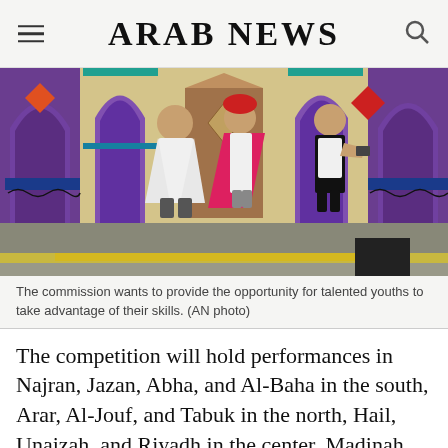ARAB NEWS
[Figure (photo): Three performers on a theatrical stage with colorful decorative arch backdrops in purple, gold and teal. One performer wears white robes, one wears red robes and turban, one wears a black and white costume. A large brown rectangular prop stands center stage.]
The commission wants to provide the opportunity for talented youths to take advantage of their skills. (AN photo)
The competition will hold performances in Najran, Jazan, Abha, and Al-Baha in the south, Arar, Al-Jouf, and Tabuk in the north, Hail, Unaizah, and Riyadh in the center, Madinah, Makkah, and Jeddah in the west, and Al-Ahsa,